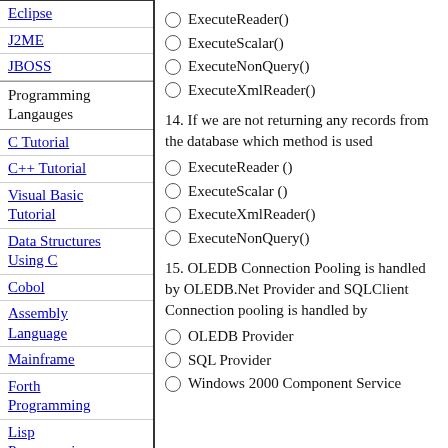Eclipse
J2ME
JBOSS
Programming Langauges
C Tutorial
C++ Tutorial
Visual Basic Tutorial
Data Structures Using C
Cobol
Assembly Language
Mainframe
Forth Programming
Lisp Programming
Pascal
13. (implied) Options: ExecuteReader(), ExecuteScalar(), ExecuteNonQuery(), ExecuteXmlReader()
ExecuteReader()
ExecuteScalar()
ExecuteNonQuery()
ExecuteXmlReader()
14. If we are not returning any records from the database which method is used
ExecuteReader ()
ExecuteScalar ()
ExecuteXmlReader()
ExecuteNonQuery()
15. OLEDB Connection Pooling is handled by OLEDB.Net Provider and SQLClient Connection pooling is handled by
OLEDB Provider
SQL Provider
Windows 2000 Component Service